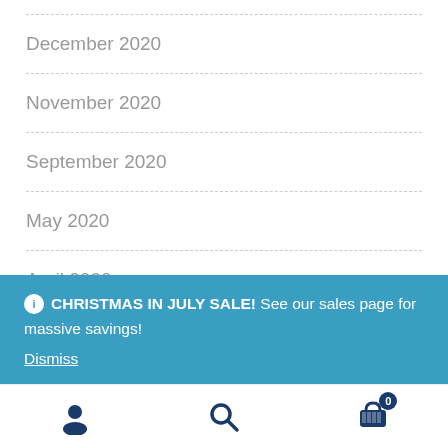December 2020
November 2020
September 2020
May 2020
April 2020
CHRISTMAS IN JULY SALE! See our sales page for massive savings! Dismiss
October 2019